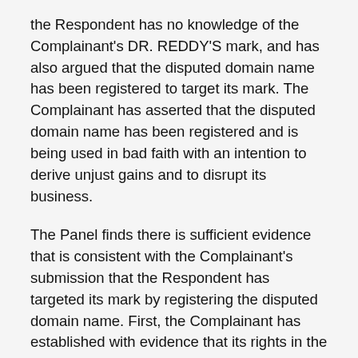the Respondent has no knowledge of the Complainant's DR. REDDY'S mark, and has also argued that the disputed domain name has been registered to target its mark. The Complainant has asserted that the disputed domain name has been registered and is being used in bad faith with an intention to derive unjust gains and to disrupt its business.
The Panel finds there is sufficient evidence that is consistent with the Complainant's submission that the Respondent has targeted its mark by registering the disputed domain name. First, the Complainant has established with evidence that its rights in the mark predates the registration of the disputed domain name and the mark is widely known due to extensive use in commerce. Second, the disputed domain name is a misspelling of the Complainant's mark and phonetically resembles the mark. Third, the disputed domain name resolves to a webpage that displays the mark and logo of the Complainant. These facts and circumstances taken together amount to finding that that the Respondent has...